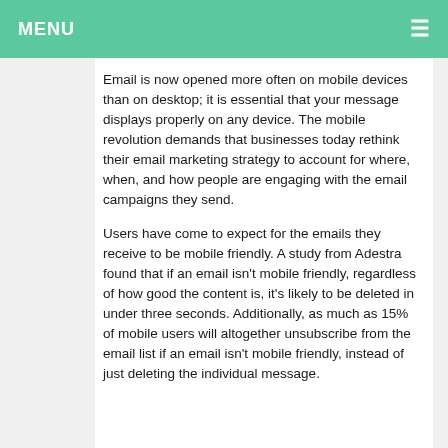MENU
Email is now opened more often on mobile devices than on desktop; it is essential that your message displays properly on any device. The mobile revolution demands that businesses today rethink their email marketing strategy to account for where, when, and how people are engaging with the email campaigns they send.
Users have come to expect for the emails they receive to be mobile friendly. A study from Adestra found that if an email isn't mobile friendly, regardless of how good the content is, it's likely to be deleted in under three seconds. Additionally, as much as 15% of mobile users will altogether unsubscribe from the email list if an email isn't mobile friendly, instead of just deleting the individual message.